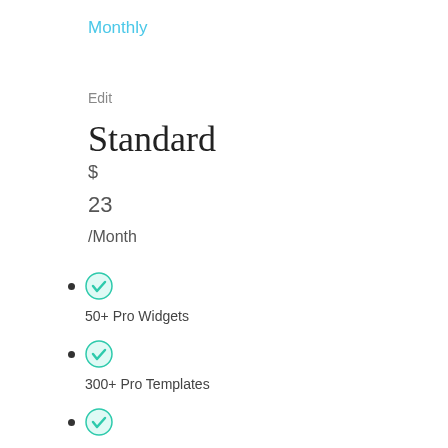Monthly
Edit
Standard
$
23
/Month
50+ Pro Widgets
300+ Pro Templates
Theme Builder
WooCommerce Builder